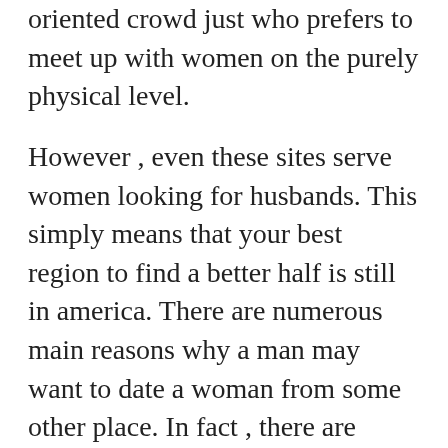oriented crowd just who prefers to meet up with women on the purely physical level.
However , even these sites serve women looking for husbands. This simply means that your best region to find a better half is still in america. There are numerous main reasons why a man may want to date a woman from some other place. In fact , there are more reasons how come a woman may choose to date men from an alternative country.
To begin with, it can be quite expensive to get married in america. In most cases, birdes-to-be either...